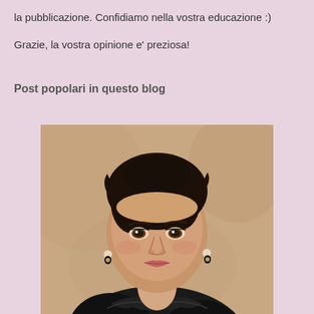la pubblicazione. Confidiamo nella vostra educazione :)
Grazie, la vostra opinione e' preziosa!
Post popolari in questo blog
[Figure (photo): Portrait photo of a dark-haired woman wearing a black outfit, with earrings, against a warm beige/tan background.]